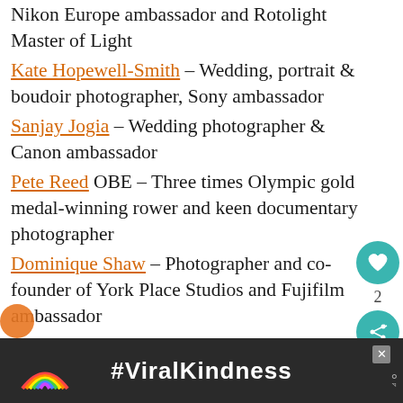Nikon Europe ambassador and Rotolight Master of Light
Kate Hopewell-Smith – Wedding, portrait & boudoir photographer, Sony ambassador
Sanjay Jogia – Wedding photographer & Canon ambassador
Pete Reed OBE – Three times Olympic gold medal-winning rower and keen documentary photographer
Dominique Shaw – Photographer and co-founder of York Place Studios and Fujifilm ambassador
Craig Strong – Lensbaby founder
Christina Vaughan – Founder of Culture Creative, the home of inclusive stock photography
[Figure (screenshot): Social sidebar with heart/like button showing count of 2, and a share button, both in teal circular buttons]
[Figure (screenshot): What's Next overlay showing a thumbnail of a landscape and text CJPOTY Round one:....]
[Figure (screenshot): Advertisement banner with dark background showing a rainbow graphic and #ViralKindness text with a close button]